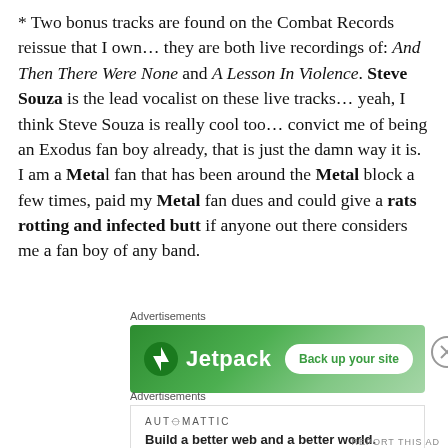* Two bonus tracks are found on the Combat Records reissue that I own… they are both live recordings of: And Then There Were None and A Lesson In Violence. Steve Souza is the lead vocalist on these live tracks… yeah, I think Steve Souza is really cool too… convict me of being an Exodus fan boy already, that is just the damn way it is. I am a Metal fan that has been around the Metal block a few times, paid my Metal fan dues and could give a rats rotting and infected butt if anyone out there considers me a fan boy of any band.
[Figure (other): Jetpack advertisement banner with green gradient background, Jetpack logo on left and 'Back up your site' button on right]
[Figure (other): Automattic advertisement with logo text 'AUTOMATTIC' and tagline 'Build a better web and a better world.']